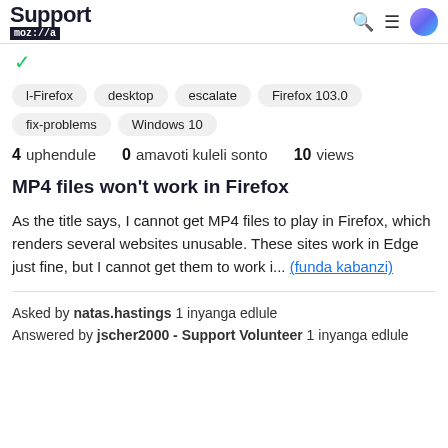Support moz://a
✓
l-Firefox
desktop
escalate
Firefox 103.0
fix-problems
Windows 10
4 uphendule  0 amavoti kuleli sonto  10 views
MP4 files won't work in Firefox
As the title says, I cannot get MP4 files to play in Firefox, which renders several websites unusable. These sites work in Edge just fine, but I cannot get them to work i... (funda kabanzi)
Asked by natas.hastings 1 inyanga edlule
Answered by jscher2000 - Support Volunteer 1 inyanga edlule